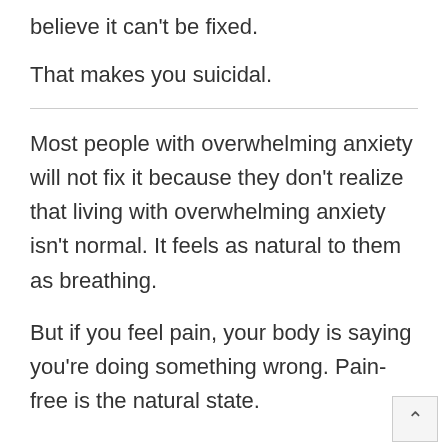believe it can't be fixed.
That makes you suicidal.
Most people with overwhelming anxiety will not fix it because they don't realize that living with overwhelming anxiety isn't normal. It feels as natural to them as breathing.
But if you feel pain, your body is saying you're doing something wrong. Pain-free is the natural state.